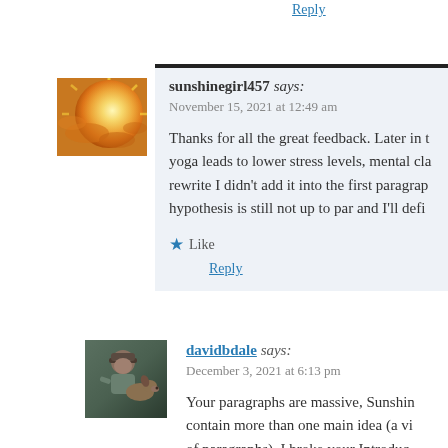Reply
sunshinegirl457 says:
November 15, 2021 at 12:49 am
Thanks for all the great feedback. Later in the paper I mention yoga leads to lower stress levels, mental clarity, etc. In my rewrite I didn't add it into the first paragraph because my hypothesis is still not up to par and I'll defi...
Like
Reply
davidbdale says:
December 3, 2021 at 6:13 pm
Your paragraphs are massive, Sunshine. They contain more than one main idea (a violation of paragraphs). I broke your Introduc...